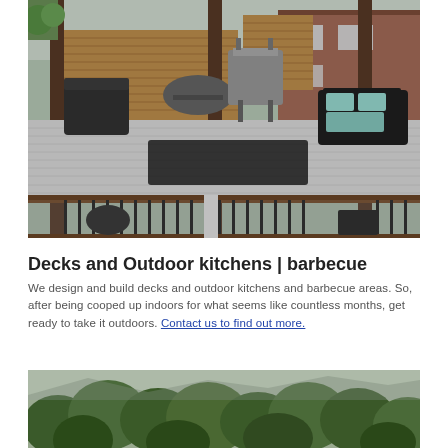[Figure (photo): Outdoor deck with wooden privacy fence panels, black metal railing with balusters, outdoor furniture including wicker chairs and sofa with teal cushions, a stainless steel barbecue grill, and a residential house in the background.]
Decks and Outdoor kitchens | barbecue
We design and build decks and outdoor kitchens and barbecue areas. So, after being cooped up indoors for what seems like countless months, get ready to take it outdoors. Contact us to find out more.
[Figure (photo): Aerial or elevated view of dense green trees and forest foliage with hills or mountains in the background under an overcast sky.]